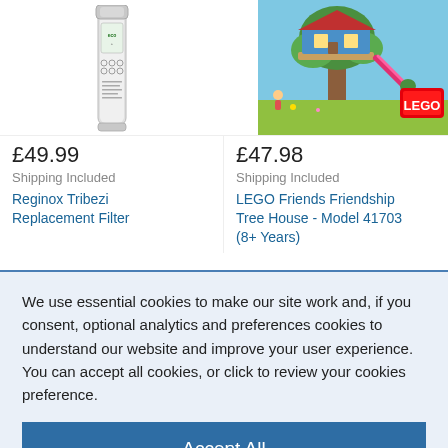[Figure (photo): Water filter canister product image - Reginox Tribezi Replacement Filter]
£49.99
Shipping Included
Reginox Tribezi Replacement Filter
[Figure (photo): LEGO Friends Friendship Tree House colorful set with treehouse, slide, and LEGO logo]
£47.98
Shipping Included
LEGO Friends Friendship Tree House - Model 41703 (8+ Years)
We use essential cookies to make our site work and, if you consent, optional analytics and preferences cookies to understand our website and improve your user experience. You can accept all cookies, or click to review your cookies preference.
Accept All
Review